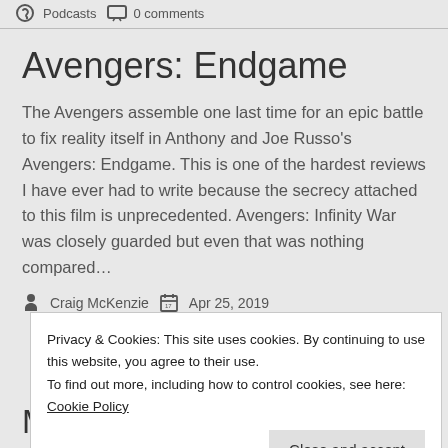Podcasts   0 comments
Avengers: Endgame
The Avengers assemble one last time for an epic battle to fix reality itself in Anthony and Joe Russo's Avengers: Endgame. This is one of the hardest reviews I have ever had to write because the secrecy attached to this film is unprecedented. Avengers: Infinity War was closely guarded but even that was nothing compared…
Craig McKenzie   Apr 25, 2019
Privacy & Cookies: This site uses cookies. By continuing to use this website, you agree to their use.
To find out more, including how to control cookies, see here: Cookie Policy
MCU Top Ten